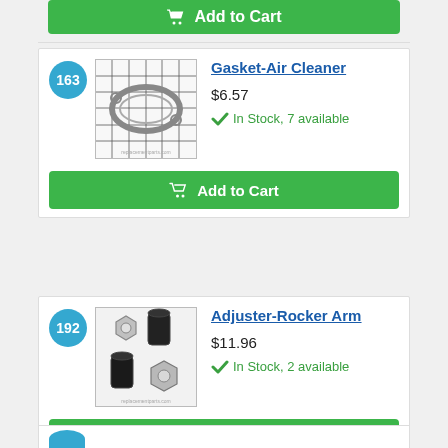Add to Cart (top, partial)
163 - Gasket-Air Cleaner - $6.57 - In Stock, 7 available
Add to Cart
192 - Adjuster-Rocker Arm - $11.96 - In Stock, 2 available
Add to Cart